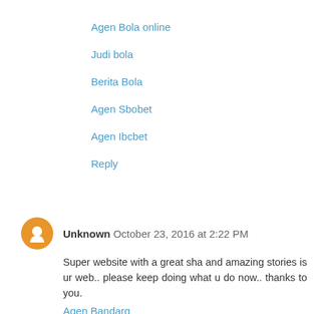Agen Bola online
Judi bola
Berita Bola
Agen Sbobet
Agen Ibcbet
Reply
Unknown October 23, 2016 at 2:22 PM
Super website with a great sha and amazing stories is ur web.. please keep doing what u do now.. thanks to you.
Agen Bandarq
Agen Domino99
Domino Online